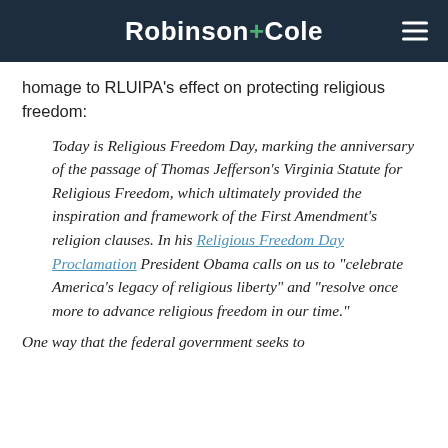Robinson+Cole
homage to RLUIPA’s effect on protecting religious freedom:
Today is Religious Freedom Day, marking the anniversary of the passage of Thomas Jefferson’s Virginia Statute for Religious Freedom, which ultimately provided the inspiration and framework of the First Amendment’s religion clauses. In his Religious Freedom Day Proclamation President Obama calls on us to “celebrate America’s legacy of religious liberty” and “resolve once more to advance religious freedom in our time.”
One way that the federal government seeks to